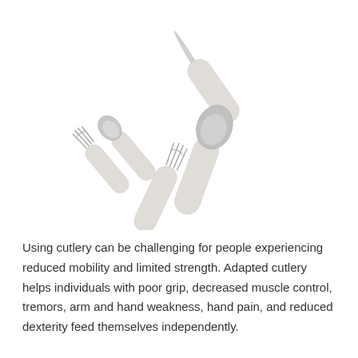[Figure (photo): A set of adaptive cutlery with thick white cylindrical handles, including a knife, two spoons, and a fork, arranged diagonally on a white background.]
Using cutlery can be challenging for people experiencing reduced mobility and limited strength. Adapted cutlery helps individuals with poor grip, decreased muscle control, tremors, arm and hand weakness, hand pain, and reduced dexterity feed themselves independently.